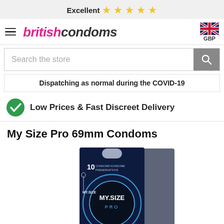Excellent ★★★★★
[Figure (logo): British Condoms logo with hamburger menu and UK flag GBP currency selector]
Search the store
Dispatching as normal during the COVID-19
Low Prices & Fast Discreet Delivery
My Size Pro 69mm Condoms
[Figure (photo): My Size Pro 69mm Condoms product box - dark blue packaging with MY.SIZE PRO logo and circular design, showing 10 condoms]